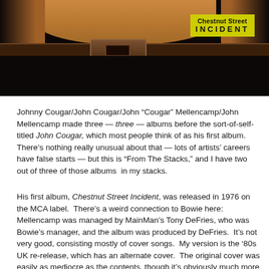[Figure (photo): A cropped photo of a person's torso showing bare midriff, a belt with buckle, and dark jeans/clothing. In the upper right corner there is a yellow badge reading 'Chestnut Street INCIDENT'.]
Johnny Cougar/John Cougar/John “Cougar” Mellencamp/John Mellencamp made three — three — albums before the sort-of-self-titled John Cougar, which most people think of as his first album.  There’s nothing really unusual about that — lots of artists’ careers have false starts — but this is “From The Stacks,” and I have two out of three of those albums  in my stacks.
His first album, Chestnut Street Incident, was released in 1976 on the MCA label.  There’s a weird connection to Bowie here: Mellencamp was managed by MainMan’s Tony DeFries, who was Bowie’s manager, and the album was produced by DeFries.  It’s not very good, consisting mostly of cover songs.  My version is the ’80s UK re-release, which has an alternate cover.  The original cover was easily as mediocre as the contents, though it’s obviously much more collectible.